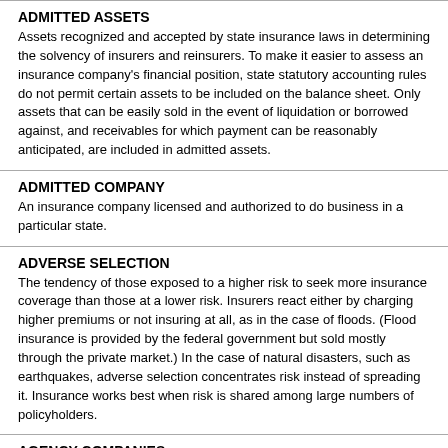ADMITTED ASSETS
Assets recognized and accepted by state insurance laws in determining the solvency of insurers and reinsurers. To make it easier to assess an insurance company's financial position, state statutory accounting rules do not permit certain assets to be included on the balance sheet. Only assets that can be easily sold in the event of liquidation or borrowed against, and receivables for which payment can be reasonably anticipated, are included in admitted assets.
ADMITTED COMPANY
An insurance company licensed and authorized to do business in a particular state.
ADVERSE SELECTION
The tendency of those exposed to a higher risk to seek more insurance coverage than those at a lower risk. Insurers react either by charging higher premiums or not insuring at all, as in the case of floods. (Flood insurance is provided by the federal government but sold mostly through the private market.) In the case of natural disasters, such as earthquakes, adverse selection concentrates risk instead of spreading it. Insurance works best when risk is shared among large numbers of policyholders.
AGENCY COMPANIES
Companies that market and sell products via independent agents.
AGENT
Insurance is sold by two types of agents: independent agents, who are